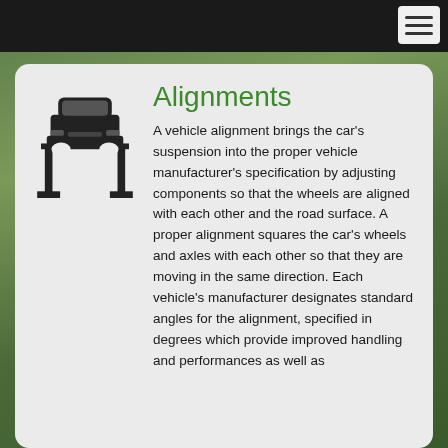[Figure (illustration): Car on lift icon — front-facing car silhouette raised on a two-post lift, black line art]
Alignments
A vehicle alignment brings the car's suspension into the proper vehicle manufacturer's specification by adjusting components so that the wheels are aligned with each other and the road surface. A proper alignment squares the car's wheels and axles with each other so that they are moving in the same direction. Each vehicle's manufacturer designates standard angles for the alignment, specified in degrees which provide improved handling and performances as well as